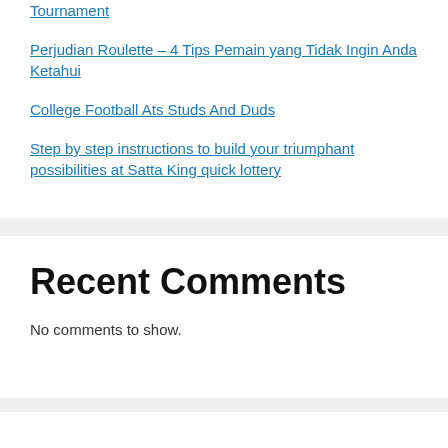Tournament
Perjudian Roulette – 4 Tips Pemain yang Tidak Ingin Anda Ketahui
College Football Ats Studs And Duds
Step by step instructions to build your triumphant possibilities at Satta King quick lottery
Recent Comments
No comments to show.